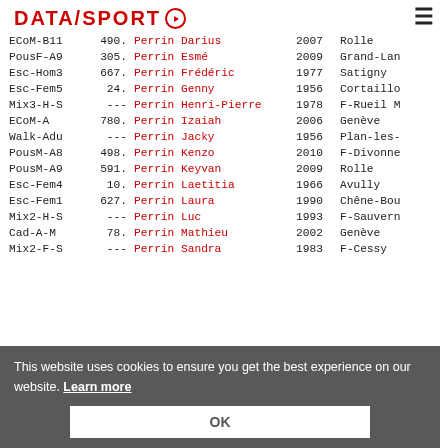DATASPORT
| Category | Rank | Name | Year | City |
| --- | --- | --- | --- | --- |
| ECoM-B11 | 490. | Perrin Darius | 2007 | Rolle |
| PousF-A9 | 305. | Perrin Esmé | 2009 | Grand-Lan… |
| Esc-Hom3 | 667. | Perrin Frédéric | 1977 | Satigny |
| Esc-Fem5 | 24. | Perrin Genny | 1956 | Cortaillo… |
| Mix3-H-S | --- | Perrin Henri-Pierre | 1978 | F-Rueil M… |
| ECoM-A | 780. | Perrin Izaiah | 2006 | Genève |
| Walk-Adu | --- | Perrin Jacky | 1956 | Plan-les-… |
| PousM-A8 | 498. | Perrin Kenzo | 2010 | F-Divonne… |
| PousM-A9 | 591. | Perrin Keyvan | 2009 | Rolle |
| Esc-Fem4 | 10. | Perrin Laetitia | 1966 | Avully |
| Esc-Fem1 | 627. | Perrin Laura | 1990 | Chêne-Bou… |
| Mix2-H-S | --- | Perrin Luc | 1993 | F-Sauvern… |
| Cad-A-M | 78. | Perrin Mathieu | 2002 | Genève |
| … | … | … | … | Sauvern… |
| … | … | … | … | and-Lan… |
| … | … | … | … | ène-Bou… |
| … | … | … | … | nève |
| … | … | … | … | Lancy |
| Mix2-F-S | --- | Perrin Sandra | 1983 | F-Cessy… |
This website uses cookies to ensure you get the best experience on our website. Learn more
OK